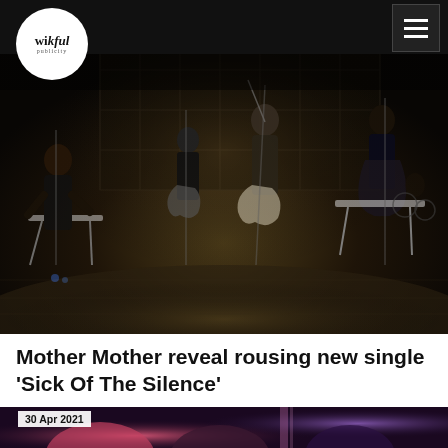wilful publicity
[Figure (photo): Band performing on a lit stage with multiple musicians: a female keyboard player on the left, a bass guitarist in the center-left, a guitarist in the center, another keyboard player on the right, and a drummer in the background. Dark atmospheric lighting with a window-grid backdrop.]
Mother Mother reveal rousing new single 'Sick Of The Silence'
[Figure (photo): Partially visible photo of band members with colorful pink and purple stage lighting, showing people with distinctive hair.]
30 Apr 2021